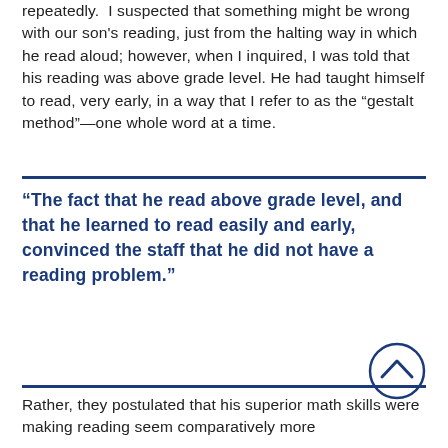repeatedly. I suspected that something might be wrong with our son's reading, just from the halting way in which he read aloud; however, when I inquired, I was told that his reading was above grade level. He had taught himself to read, very early, in a way that I refer to as the “gestalt method”—one whole word at a time.
“The fact that he read above grade level, and that he learned to read easily and early, convinced the staff that he did not have a reading problem.”
Rather, they postulated that his superior math skills were making reading seem comparatively more